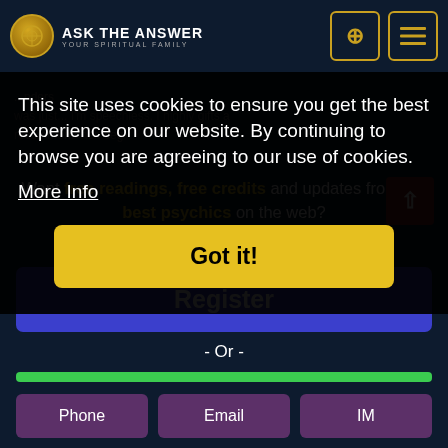[Figure (screenshot): Website header navigation bar with logo 'ASK THE ANSWER YOUR SPIRITUAL FAMILY' and search/menu icons with gold border]
This site uses cookies to ensure you get the best experience on our website. By continuing to browse you are agreeing to our use of cookies.
More Info
Got it!
Want free readings, free credits and updates from the best psychics on the web?
Sign up today and join our email newsletter!
Register
- Or -
Phone
Email
IM